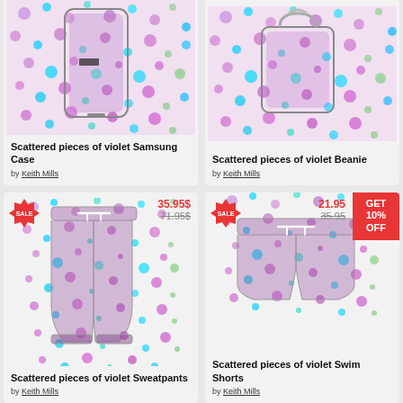[Figure (photo): Scattered pieces of violet Samsung Case product image]
Scattered pieces of violet Samsung Case
by Keith Mills
[Figure (photo): Scattered pieces of violet Beanie product image]
Scattered pieces of violet Beanie
by Keith Mills
[Figure (photo): Scattered pieces of violet Sweatpants product image with SALE badge, price 35.95$, original 71.95$]
Scattered pieces of violet Sweatpants
by Keith Mills
[Figure (photo): Scattered pieces of violet Swim Shorts product image with SALE badge, price 21.95$, original 35.95$]
Scattered pieces of violet Swim Shorts
by Keith Mills